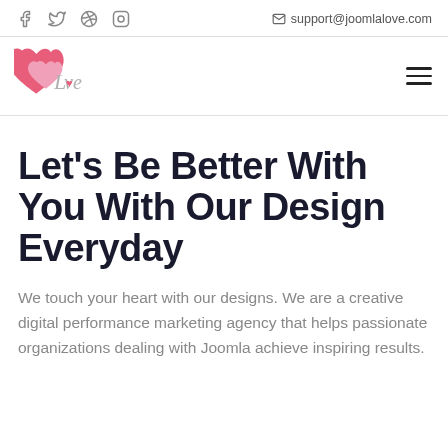social icons: Facebook, Twitter, Pinterest, Instagram | support@joomlalove.com
[Figure (logo): Love brand logo with red/pink heart icons and cursive 'Love' text]
Let's Be Better With You With Our Design Everyday
We touch your heart with our designs. We are a creative digital performance marketing agency that helps passionate organizations dealing with Joomla achieve inspiring results.